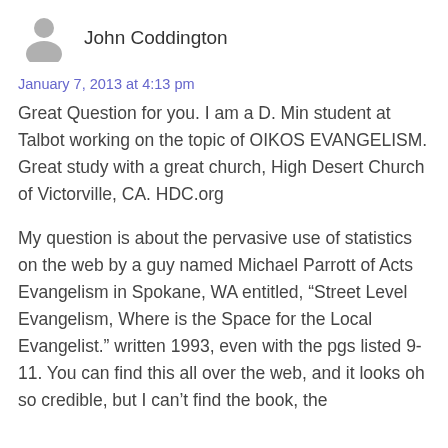[Figure (illustration): Gray silhouette avatar icon of a person]
John Coddington
January 7, 2013 at 4:13 pm
Great Question for you. I am a D. Min student at Talbot working on the topic of OIKOS EVANGELISM. Great study with a great church, High Desert Church of Victorville, CA. HDC.org
My question is about the pervasive use of statistics on the web by a guy named Michael Parrott of Acts Evangelism in Spokane, WA entitled, “Street Level Evangelism, Where is the Space for the Local Evangelist.” written 1993, even with the pgs listed 9-11. You can find this all over the web, and it looks oh so credible, but I can’t find the book, the